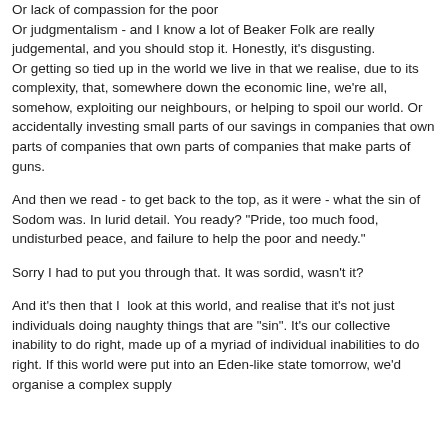Or lack of compassion for the poor
Or judgmentalism - and I know a lot of Beaker Folk are really judgemental, and you should stop it. Honestly, it's disgusting.
Or getting so tied up in the world we live in that we realise, due to its complexity, that, somewhere down the economic line, we're all, somehow, exploiting our neighbours, or helping to spoil our world. Or accidentally investing small parts of our savings in companies that own parts of companies that own parts of companies that make parts of guns.

And then we read - to get back to the top, as it were - what the sin of Sodom was. In lurid detail. You ready? "Pride, too much food, undisturbed peace, and failure to help the poor and needy."

Sorry I had to put you through that. It was sordid, wasn't it?

And it's then that I  look at this world, and realise that it's not just individuals doing naughty things that are "sin". It's our collective inability to do right, made up of a myriad of individual inabilities to do right. If this world were put into an Eden-like state tomorrow, we'd organise a complex supply